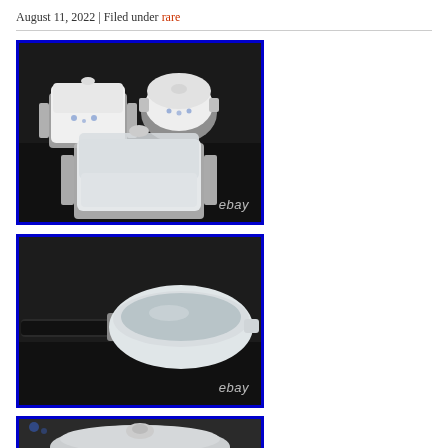August 11, 2022 | Filed under rare
[Figure (photo): Three white Corningware casserole dishes with lids in metal cradle holders displayed on dark background, with 'ebay' watermark]
[Figure (photo): White Corningware saucepan with dark handle displayed on dark background, with 'ebay' watermark]
[Figure (photo): Partial view of another Corningware dish with lid on dark background]